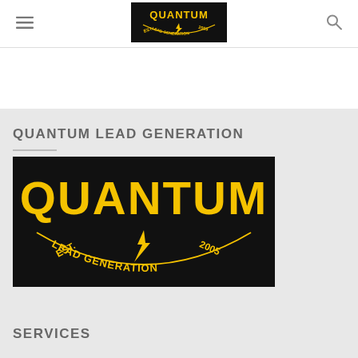[Figure (logo): Quantum Lead Generation logo in header nav bar — black background with yellow text]
QUANTUM LEAD GENERATION
[Figure (logo): Quantum Lead Generation logo — black background, yellow bold text reading QUANTUM with EST. 2005 LEAD GENERATION in an arc with lightning bolt]
SERVICES